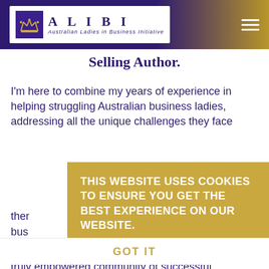ALIBI - Australian Ladies in Business Initiative
Selling Author.
I'm here to combine my years of experience in helping struggling Australian business ladies, addressing all the unique challenges they face
ther... d bus...
[Figure (other): Cookie consent banner overlay: 'THIS WEBSITE USES COOKIES TO ENSURE YOU GET THE BEST EXPERIENCE ON OUR WEBSITE. LEARN MORE' with 'GOT IT' dismiss button]
Nee... a
truly empowered community of successful